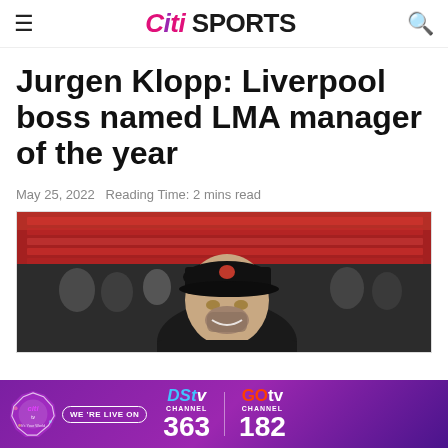Citi SPORTS
Jurgen Klopp: Liverpool boss named LMA manager of the year
May 25, 2022   Reading Time: 2 mins read
[Figure (photo): Jurgen Klopp smiling at a stadium, wearing a black baseball cap, with a packed red-colored crowd visible in the background]
[Figure (infographic): CitiTV/DStv/GOtv advertisement banner: We're live on DStv Channel 363 and GOtv Channel 182]